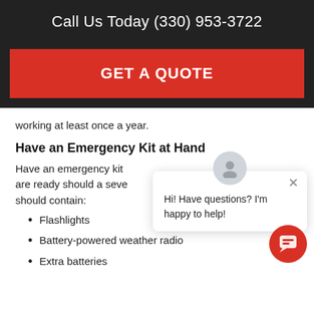Call Us Today (330) 953-3722
GET A QUOTE
working at least once a year.
Have an Emergency Kit at Hand
Have an emergency kit are ready should a seve should contain:
Flashlights
Battery-powered weather radio
Extra batteries